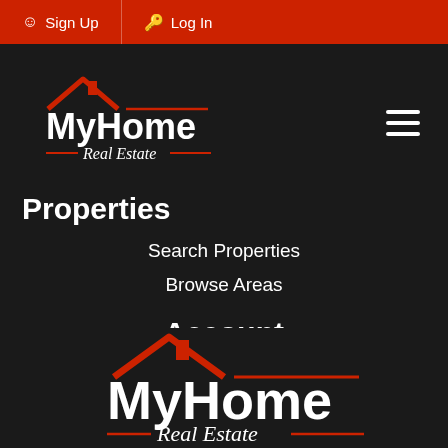Sign Up  Log In
[Figure (logo): MyHome Real Estate logo with house icon, red roof lines, white text]
Properties
Search Properties
Browse Areas
Account
Login
[Figure (logo): MyHome Real Estate logo repeated at bottom, larger version with red roof and white text]